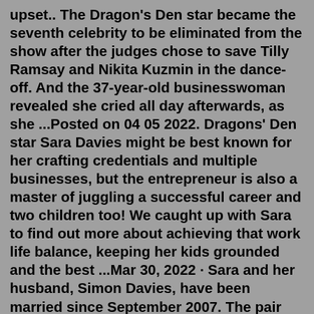upset.. The Dragon's Den star became the seventh celebrity to be eliminated from the show after the judges chose to save Tilly Ramsay and Nikita Kuzmin in the dance-off. And the 37-year-old businesswoman revealed she cried all day afterwards, as she ...Posted on 04 05 2022. Dragons' Den star Sara Davies might be best known for her crafting credentials and multiple businesses, but the entrepreneur is also a master of juggling a successful career and two children too! We caught up with Sara to find out more about achieving that work life balance, keeping her kids grounded and the best ...Mar 30, 2022 · Sara and her husband, Simon Davies, have been married since September 2007. The pair met when they were both teenagers. Simon Davies, along with his wife Sara, is a businessman and co-founder of Crafter's Companion. He is said to be 41 or 42 years old and is an avid cricket fan who has competed in the sport in the past. Sep 15, 2019 · Sara Davies is the founder and owner of Crafter's Companion, a global retail